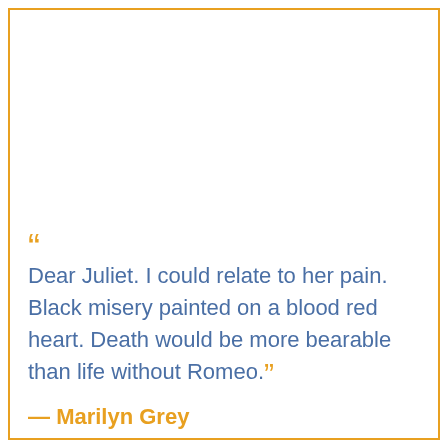“Dear Juliet. I could relate to her pain. Black misery painted on a blood red heart. Death would be more bearable than life without Romeo.”
— Marilyn Grey